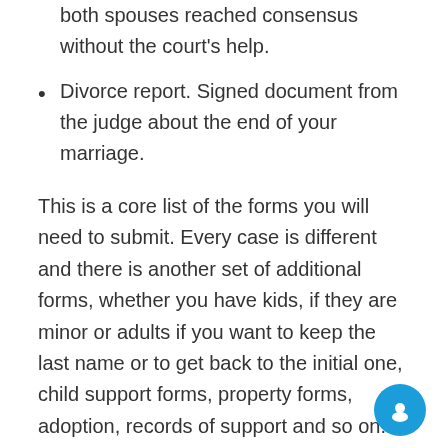Disclosure of settlement forms. It claims that both spouses reached consensus without the court's help.
Divorce report. Signed document from the judge about the end of your marriage.
This is a core list of the forms you will need to submit. Every case is different and there is another set of additional forms, whether you have kids, if they are minor or adults if you want to keep the last name or to get back to the initial one, child support forms, property forms, adoption, records of support and so on. In this case, it is a good idea to use divorce filing services to get all the documents needed without the hassle and getting lost in this labyrinth. After the documents submitted the waiting time for the divorce to become